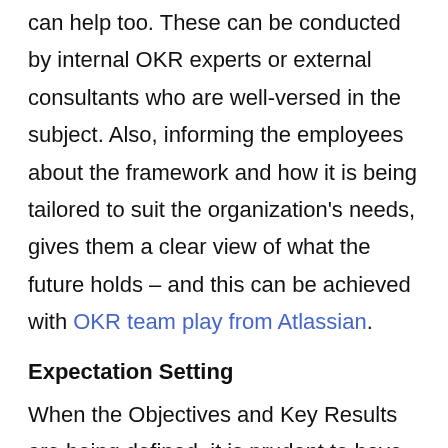can help too. These can be conducted by internal OKR experts or external consultants who are well-versed in the subject. Also, informing the employees about the framework and how it is being tailored to suit the organization's needs, gives them a clear view of what the future holds – and this can be achieved with OKR team play from Atlassian.
Expectation Setting
When the Objectives and Key Results are being defined, it is prudent to have an idea of what failure looks like too. Anonymous surveys (here's an example) help gauge